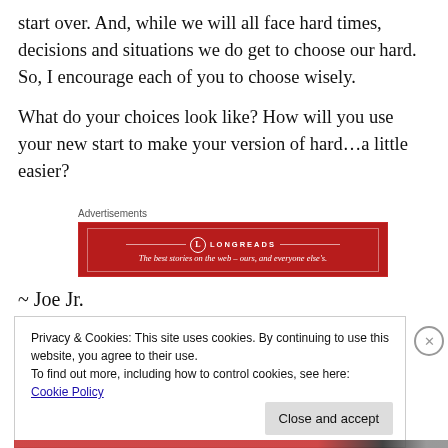start over. And, while we will all face hard times, decisions and situations we do get to choose our hard. So, I encourage each of you to choose wisely.
What do your choices look like? How will you use your new start to make your version of hard…a little easier?
[Figure (other): Longreads advertisement banner in red with tagline: The best stories on the web – ours, and everyone else's.]
~ Joe Jr.
Privacy & Cookies: This site uses cookies. By continuing to use this website, you agree to their use.
To find out more, including how to control cookies, see here: Cookie Policy